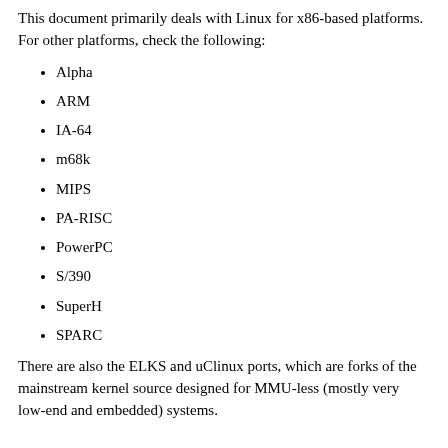This document primarily deals with Linux for x86-based platforms. For other platforms, check the following:
Alpha
ARM
IA-64
m68k
MIPS
PA-RISC
PowerPC
S/390
SuperH
SPARC
There are also the ELKS and uClinux ports, which are forks of the mainstream kernel source designed for MMU-less (mostly very low-end and embedded) systems.